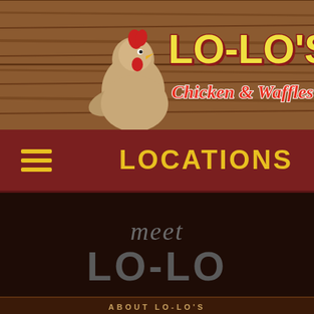[Figure (logo): Lo-Lo's Chicken & Waffles logo with rooster mascot on wood plank background]
LOCATIONS
meet LO-LO
ABOUT LO-LO'S